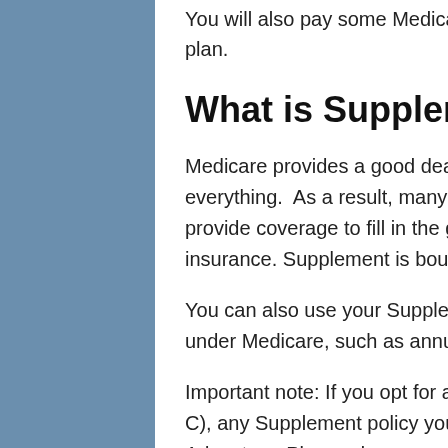You will also pay some Medicare costs yourself when you start using the plan.
What is Supplement Insurance?
Medicare provides a good deal of coverage, but it doesn't cover everything.  As a result, many people choose to buy a separate policy to provide coverage to fill in the gaps. This is known as Supplement insurance. Supplement is bought from private insurance companies.
You can also use your Supplement policy to cover expenses you have under Medicare, such as annual co-pays and deductibles.
Important note: If you opt for a Medicare Advantage Plan (Medicare Part C), any Supplement policy you have won't pay. If you take a Medicare Advantage Plan and